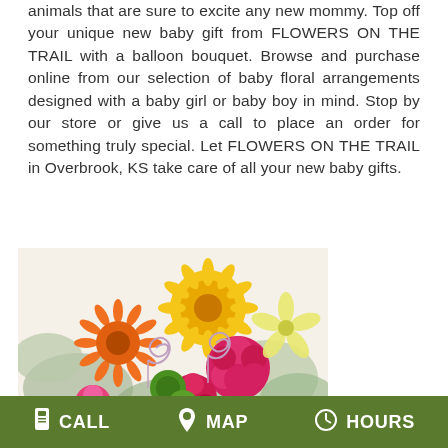animals that are sure to excite any new mommy. Top off your unique new baby gift from FLOWERS ON THE TRAIL with a balloon bouquet. Browse and purchase online from our selection of baby floral arrangements designed with a baby girl or baby boy in mind. Stop by our store or give us a call to place an order for something truly special. Let FLOWERS ON THE TRAIL in Overbrook, KS take care of all your new baby gifts.
[Figure (photo): A colorful flower bouquet featuring yellow gerbera daisies, orange gerberas, pink/red carnations, small pink roses, green button mums, yellow alstroemeria, and silver decorative spiral wire picks, surrounded by dusty miller foliage.]
CALL   MAP   HOURS